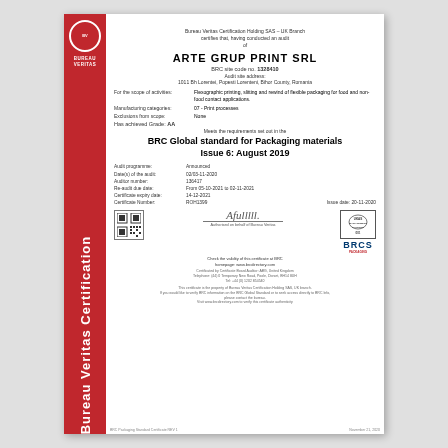Bureau Veritas Certification Holding SAS – UK Branch certifies that, having conducted an audit of
ARTE GRUP PRINT SRL
BRC site code no. 1328410
Audit site address: 1011 Bh Lorentei, Popesti Lorenteni, Bihor County, Romania
For the scope of activities: Flexographic printing, slitting and rewind of flexible packaging for food and non-food contact applications.
Manufacturing categories: 07 - Print processes
Exclusions from scope: None
Has achieved Grade: AA
Meets the requirements set out in the
BRC Global standard for Packaging materials Issue 6: August 2019
Audit programme: Announced
Date(s) of the audit: 02/03-11-2020
Auditor number: 136417
Re-audit due date: From 05-10-2021 to 02-11-2021
Certificate expiry date: 14-12-2021
Certificate Number: ROH1399    Issue date: 20-11-2020
Check the validity of this certificate at BRC homepage: www.brcdirectory.com
BRC Packaging Standard Certificate REV 1    November 21, 2020